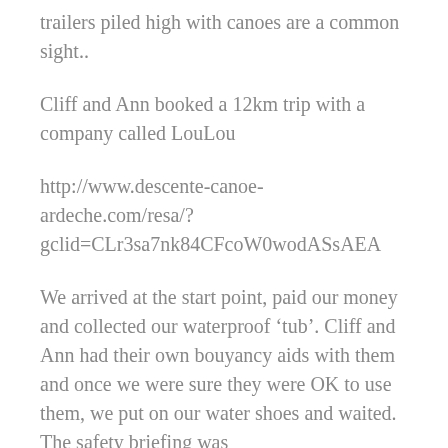trailers piled high with canoes are a common sight..
Cliff and Ann booked a 12km trip with a company called LouLou
http://www.descente-canoe-ardeche.com/resa/?gclid=CLr3sa7nk84CFcoW0wodASsAEA
We arrived at the start point, paid our money and collected our waterproof 'tub'. Cliff and Ann had their own bouyancy aids with them and once we were sure they were OK to use them, we put on our water shoes and waited. The safety briefing was